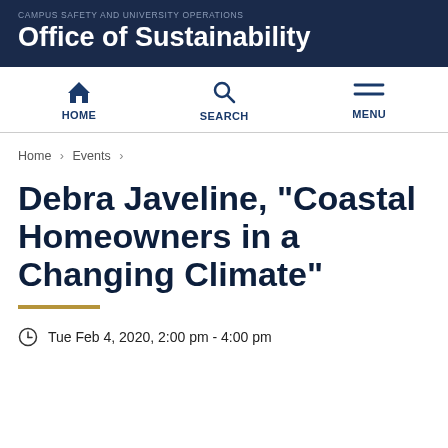CAMPUS SAFETY AND UNIVERSITY OPERATIONS
Office of Sustainability
HOME  SEARCH  MENU
Home › Events ›
Debra Javeline, "Coastal Homeowners in a Changing Climate"
Tue Feb 4, 2020, 2:00 pm - 4:00 pm